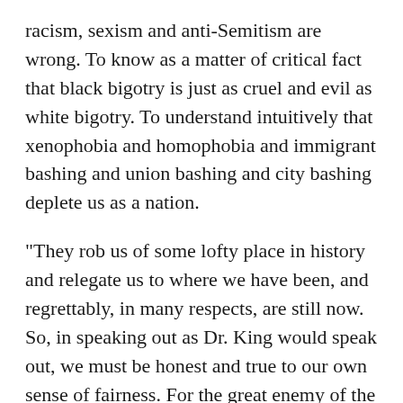racism, sexism and anti-Semitism are wrong. To know as a matter of critical fact that black bigotry is just as cruel and evil as white bigotry. To understand intuitively that xenophobia and homophobia and immigrant bashing and union bashing and city bashing deplete us as a nation.
"They rob us of some lofty place in history and relegate us to where we have been, and regrettably, in many respects, are still now. So, in speaking out as Dr. King would speak out, we must be honest and true to our own sense of fairness. For the great enemy of the truth is very often not the lie -- that's deliberate; it's contrived, it's dishonest. The great enemy of the truth very often is the myth, because that is persistent and persuasive and unrealistic."